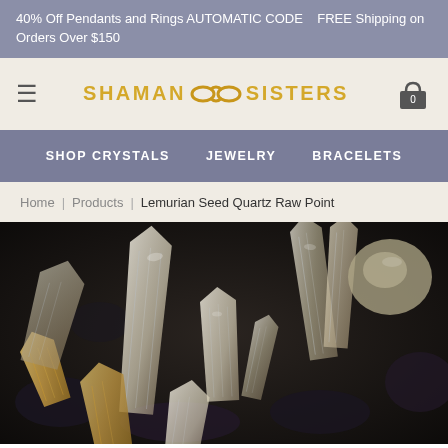40% Off Pendants and Rings AUTOMATIC CODE    FREE Shipping on Orders Over $150
[Figure (logo): Shaman Sisters logo with infinity symbol in gold/yellow, hamburger menu icon on left, shopping cart with 0 on right]
SHOP CRYSTALS   JEWELRY   BRACELETS
Home | Products | Lemurian Seed Quartz Raw Point
[Figure (photo): Close-up photo of multiple Lemurian Seed Quartz raw crystal points scattered on a dark surface, showing translucent white/clear and golden tinted crystals with distinctive ridged striations]